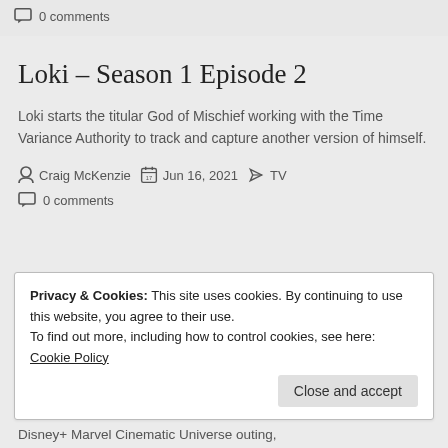0 comments
Loki – Season 1 Episode 2
Loki starts the titular God of Mischief working with the Time Variance Authority to track and capture another version of himself.
Craig McKenzie   Jun 16, 2021   TV
0 comments
Privacy & Cookies: This site uses cookies. By continuing to use this website, you agree to their use.
To find out more, including how to control cookies, see here: Cookie Policy
Close and accept
Disney+ Marvel Cinematic Universe outing,